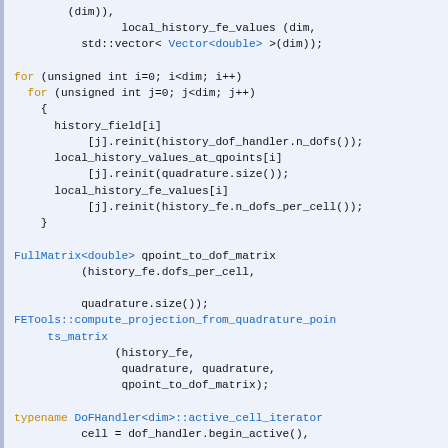[Figure (screenshot): C++ source code snippet showing initialization of history field arrays and projection matrix computation using deal.II library constructs including for loops, FullMatrix, FETools, and DoFHandler iterators.]